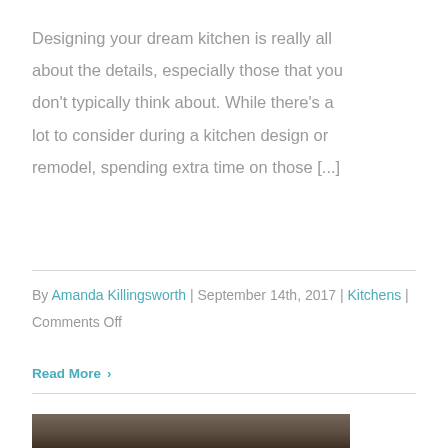Designing your dream kitchen is really all about the details, especially those that you don't typically think about. While there's a lot to consider during a kitchen design or remodel, spending extra time on those [...]
By Amanda Killingsworth | September 14th, 2017 | Kitchens | Comments Off
Read More ›
[Figure (photo): Partial kitchen photo visible at the bottom of the page]